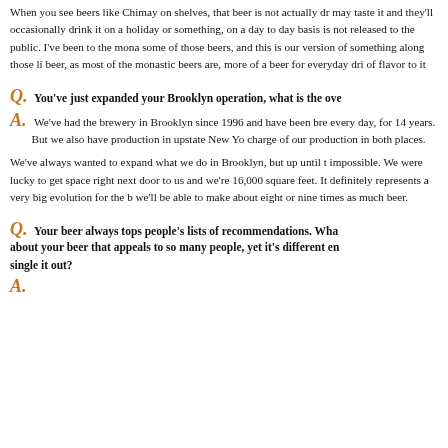When you see beers like Chimay on shelves, that beer is not actually dr may taste it and they'll occasionally drink it on a holiday or something, on a day to day basis is not released to the public. I've been to the mona some of those beers, and this is our version of something along those li beer, as most of the monastic beers are, more of a beer for everyday dri of flavor to it
Q. You've just expanded your Brooklyn operation, what is the ove
A. We've had the brewery in Brooklyn since 1996 and have been bre every day, for 14 years. But we also have production in upstate New Yo charge of our production in both places.
We've always wanted to expand what we do in Brooklyn, but up until t impossible. We were lucky to get space right next door to us and we're 16,000 square feet. It definitely represents a very big evolution for the b we'll be able to make about eight or nine times as much beer.
Q. Your beer always tops people's lists of recommendations. Wha about your beer that appeals to so many people, yet it's different en single it out?
A. ...